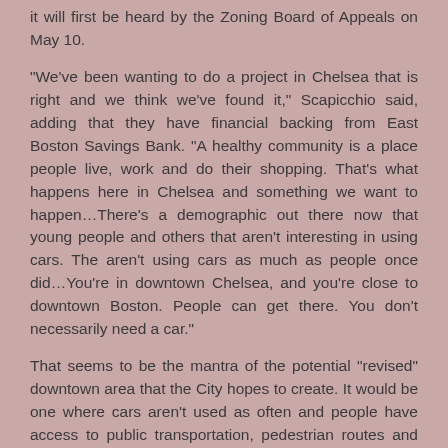it will first be heard by the Zoning Board of Appeals on May 10.
“We’ve been wanting to do a project in Chelsea that is right and we think we’ve found it,” Scapicchio said, adding that they have financial backing from East Boston Savings Bank. “A healthy community is a place people live, work and do their shopping. That’s what happens here in Chelsea and something we want to happen…There’s a demographic out there now that young people and others that aren’t interesting in using cars. The aren't using cars as much as people once did…You’re in downtown Chelsea, and you’re close to downtown Boston. People can get there. You don’t necessarily need a car.”
That seems to be the mantra of the potential “revised” downtown area that the City hopes to create. It would be one where cars aren't used as often and people have access to public transportation, pedestrian routes and even bicycle paths.
“There are changes in the way that people live,” said Ambrosino. “The old standard of two cars per unit may not be the reality these days, especially with young, working professionals. Honestly, if